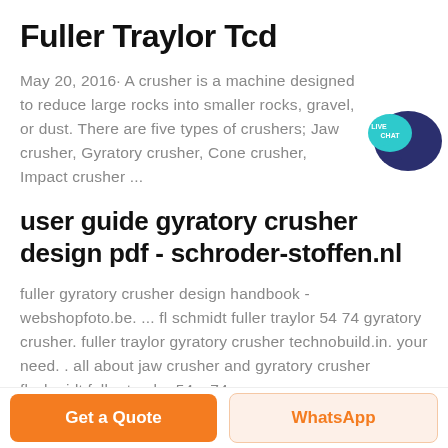Fuller Traylor Tcd
May 20, 2016· A crusher is a machine designed to reduce large rocks into smaller rocks, gravel, or dust. There are five types of crushers; Jaw crusher, Gyratory crusher, Cone crusher, Impact crusher ...
[Figure (illustration): Live chat speech bubble icon with text 'LIVE CHAT' in teal/dark blue color]
user guide gyratory crusher design pdf - schroder-stoffen.nl
fuller gyratory crusher design handbook - webshopfoto.be. ... fl schmidt fuller traylor 54 74 gyratory crusher. fuller traylor gyratory crusher technobuild.in. your need. . all about jaw crusher and gyratory crusher flschmidt fuller traylor 54 x 74
Get a Quote
WhatsApp